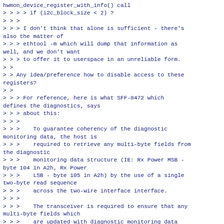hwmon_device_register_with_info() call
> > > > if (i2c_block_size < 2) ?
> > >
> > > I don't think that alone is sufficient - there's also the matter of
> > > ethtool -m which will dump that information as well, and we don't want
> > > to offer it to userspace in an unreliable form.
> >
> > Any idea/preference how to disable access to these registers?
> >
> > > For reference, here is what SFF-8472 which defines the diagnostics, says
> > > about this:
> > >
> > >    To guarantee coherency of the diagnostic monitoring data, the host is
> > >    required to retrieve any multi-byte fields from the diagnostic
> > >    monitoring data structure (IE: Rx Power MSB - byte 104 in A2h, Rx Power
> > >    LSB - byte 105 in A2h) by the use of a single two-byte read sequence
> > >    across the two-wire interface interface.
> > >
> > >    The transceiver is required to ensure that any multi-byte fields which
> > >    are updated with diagnostic monitoring data
(e.g, Rx Power MSB - byte